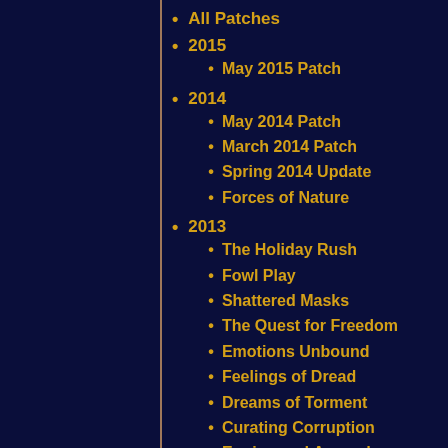All Patches
2015
May 2015 Patch
2014
May 2014 Patch
March 2014 Patch
Spring 2014 Update
Forces of Nature
2013
The Holiday Rush
Fowl Play
Shattered Masks
The Quest for Freedom
Emotions Unbound
Feelings of Dread
Dreams of Torment
Curating Corruption
Engineered Ascendance
Disturbance in the Desert